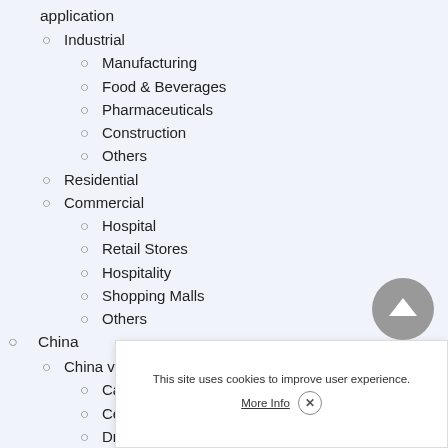application
Industrial
Manufacturing
Food & Beverages
Pharmaceuticals
Construction
Others
Residential
Commercial
Hospital
Retail Stores
Hospitality
Shopping Malls
Others
China
China vacuum cleaner market, by p…
Canister
Central
Drum